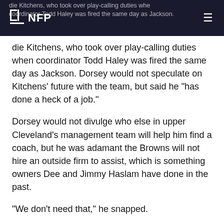NFP
die Kitchens, who took over play-calling duties when coordinator Todd Haley was fired the same day as Jackson. Dorsey would not speculate on Kitchens' future with the team, but said he "has done a heck of a job."
Dorsey would not divulge who else in upper Cleveland's management team will help him find a coach, but he was adamant the Browns will not hire an outside firm to assist, which is something owners Dee and Jimmy Haslam have done in the past.
"We don't need that," he snapped.
Dorsey was tight-lipped on other aspects of the search, including whether he would be willing to hire a college coach with no pro experience. However, he did outline the traits he's seeking in a new coach.